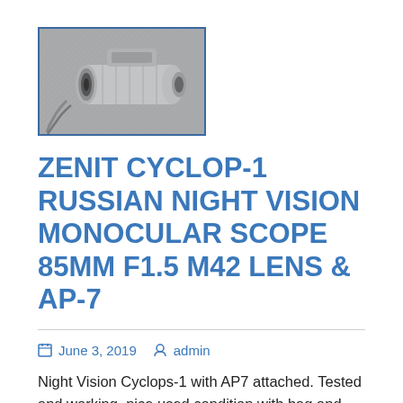[Figure (photo): Thumbnail photo of a Zenit Cyclop-1 Russian Night Vision Monocular Scope with AP-7 attached, shown from the side, metallic finish, with a blue border frame.]
ZENIT CYCLOP-1 RUSSIAN NIGHT VISION MONOCULAR SCOPE 85MM F1.5 M42 LENS & AP-7
June 3, 2019   admin
Night Vision Cyclops-1 with AP7 attached. Tested and working, nice used condition with bag and lens covers. Track Page Views With. Auctiva’s FREE Counter. The item “Zenit Cyclop-1 Russian Night Vision Monocular